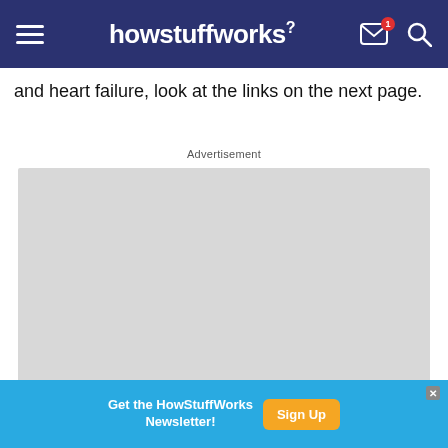howstuffworks
and heart failure, look at the links on the next page.
Advertisement
[Figure (other): Gray advertisement placeholder box]
[Figure (other): Blue newsletter signup banner: Get the HowStuffWorks Newsletter! Sign Up button, with close X button]